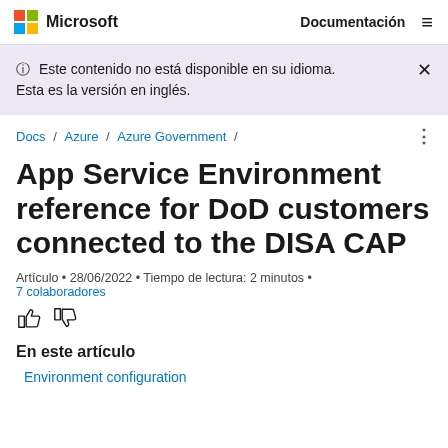Microsoft  Documentación
ⓘ Este contenido no está disponible en su idioma. Esta es la versión en inglés.
Docs / Azure / Azure Government /
App Service Environment reference for DoD customers connected to the DISA CAP
Artículo • 28/06/2022 • Tiempo de lectura: 2 minutos • 7 colaboradores
En este artículo
Environment configuration